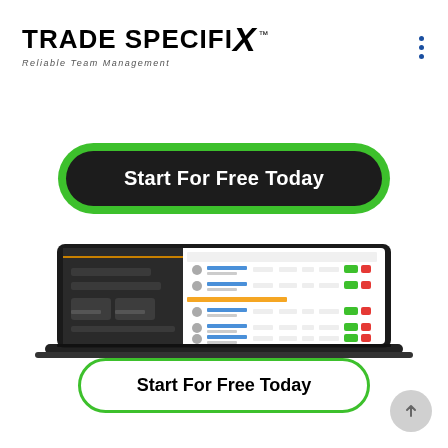[Figure (logo): Trade SpecifiX logo with tagline 'Reliable Team Management']
Start For Free Today
[Figure (screenshot): Laptop computer displaying the Trade SpecifiX web application dashboard with dark left panel and white right panel showing team management data rows with green and red action buttons]
Start For Free Today